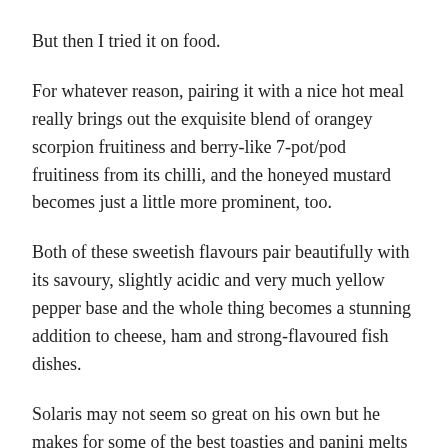But then I tried it on food.
For whatever reason, pairing it with a nice hot meal really brings out the exquisite blend of orangey scorpion fruitiness and berry-like 7-pot/pod fruitiness from its chilli, and the honeyed mustard becomes just a little more prominent, too.
Both of these sweetish flavours pair beautifully with its savoury, slightly acidic and very much yellow pepper base and the whole thing becomes a stunning addition to cheese, ham and strong-flavoured fish dishes.
Solaris may not seem so great on his own but he makes for some of the best toasties and panini melts that I've ever had!